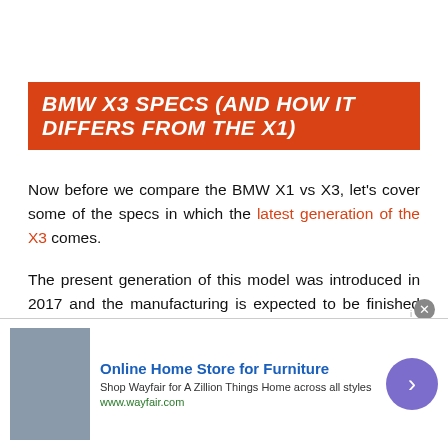BMW X3 SPECS (AND HOW IT DIFFERS FROM THE X1)
Now before we compare the BMW X1 vs X3, let's cover some of the specs in which the latest generation of the X3 comes.
The present generation of this model was introduced in 2017 and the manufacturing is expected to be finished by 2024. This means that for the 2025 model year we will have a new generation of this BMW X3 SUV.
[Figure (other): No compatible source was found for this media overlay on a dark video area with Mobil branding visible]
Online Home Store for Furniture
Shop Wayfair for A Zillion Things Home across all styles
www.wayfair.com